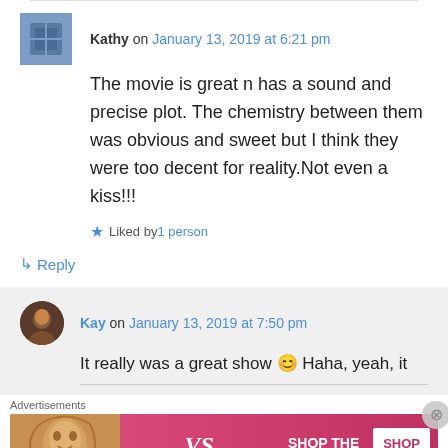Kathy on January 13, 2019 at 6:21 pm
The movie is great n has a sound and precise plot. The chemistry between them was obvious and sweet but I think they were too decent for reality.Not even a kiss!!!
Liked by 1 person
↳ Reply
Kay on January 13, 2019 at 7:50 pm
It really was a great show 😊 Haha, yeah, it
Advertisements
[Figure (other): Victoria's Secret advertisement banner: model photo on left, VS logo in center, 'SHOP THE COLLECTION' text, 'SHOP NOW' button on right]